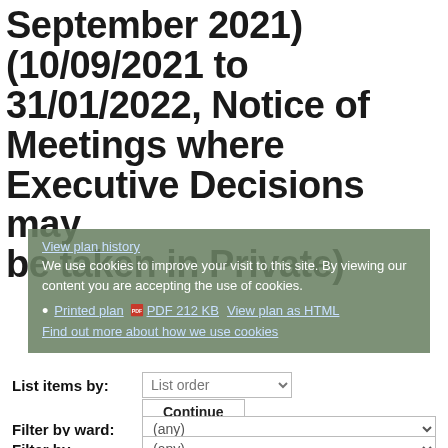September 2021) (10/09/2021 to 31/01/2022, Notice of Meetings where Executive Decisions may be taken in Private)
View plan history
We use cookies to improve your visit to this site. By viewing our content you are accepting the use of cookies.
• Printed plan  PDF 212 KB  View plan as HTML
Find out more about how we use cookies
List Items by: List order  Continue
Filter by ward: (any)
Filter by (any)